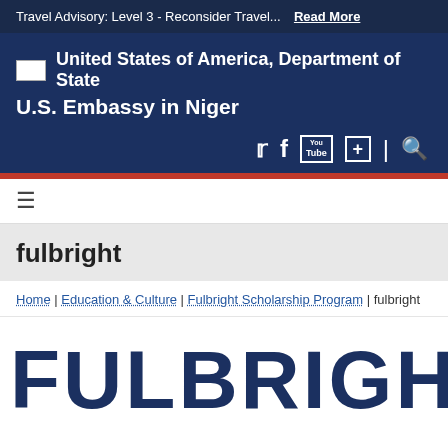Travel Advisory: Level 3 - Reconsider Travel...  Read More
[Figure (logo): United States of America, Department of State seal/flag icon with organization name and U.S. Embassy in Niger text, with social media icons]
≡
fulbright
Home | Education & Culture | Fulbright Scholarship Program | fulbright
[Figure (illustration): Large bold text 'FULBRIGHT' in dark navy blue, partially visible at bottom of page]